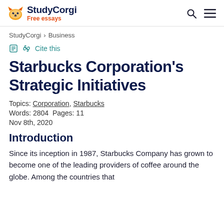StudyCorgi Free essays
StudyCorgi > Business
Cite this
Starbucks Corporation's Strategic Initiatives
Topics: Corporation, Starbucks
Words: 2804  Pages: 11
Nov 8th, 2020
Introduction
Since its inception in 1987, Starbucks Company has grown to become one of the leading providers of coffee around the globe. Among the countries that